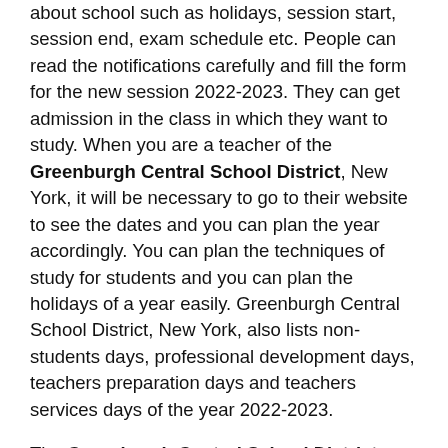about school such as holidays, session start, session end, exam schedule etc. People can read the notifications carefully and fill the form for the new session 2022-2023. They can get admission in the class in which they want to study. When you are a teacher of the Greenburgh Central School District, New York, it will be necessary to go to their website to see the dates and you can plan the year accordingly. You can plan the techniques of study for students and you can plan the holidays of a year easily. Greenburgh Central School District, New York, also lists non-students days, professional development days, teachers preparation days and teachers services days of the year 2022-2023.
The Greenburgh Central School District, 2022-2023, occasion list is significant from the two understudies and instructors points of view. You can make things simpler for yourself in a single click. Whenever arranged well, school holidays of 2022-2023 can be an extraordinary chance to